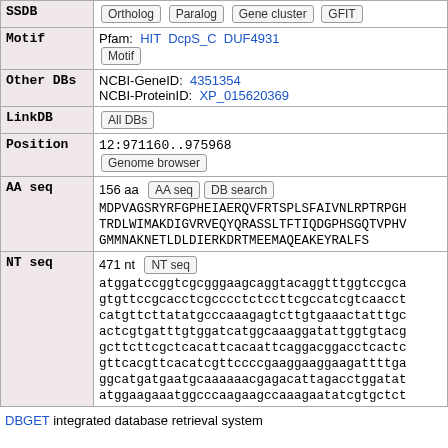| Field | Value |
| --- | --- |
| SSDB | Ortholog Paralog Gene cluster GFIT |
| Motif | Pfam: HIT DcpS_C DUF4931 [Motif] |
| Other DBs | NCBI-GeneID: 4351354
NCBI-ProteinID: XP_015620369 |
| LinkDB | All DBs |
| Position | 12:971160..975968
Genome browser |
| AA seq | 156 aa [AA seq] [DB search]
MDPVAGSRYRFGPHEIAERQVFRTSPLSFAIVNLRPTRPGH
TRDLWIMAKDIGVRVEQYQRASSLTFTIQDGPHSGQTVPHV
GMMNAKNETLDLDIERKDRTMEEMAQEAKEYRALFS |
| NT seq | 471 nt [NT seq]
atggatccggtcgcgggaagcaggtacaggtttggtccgca
gtgttccgcacctcgcccctctccttcgccatcgtcaacct
catgttcttatatgcccaaagagtcttgtgaaactatttgc
actcgtgatttgtggatcatggcaaaggatattggtgtacg
gcttcttcgctcacattcacaattcaggacggacctcactc
gttcacgttcacatcgttccccgaaggaaggaagattttga
ggcatgatgaatgcaaaaaacgagacattagacctggatat
atggaagaaatggcccaagaagccaaagaatatcgtgctct |
DBGET integrated database retrieval system